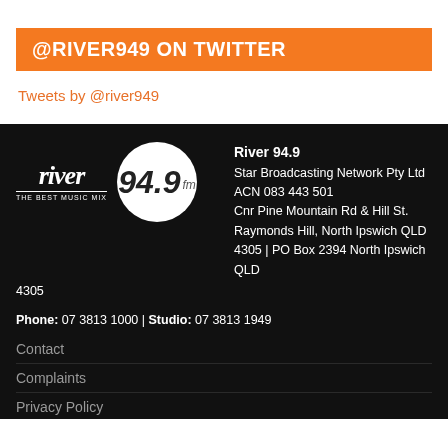@RIVER949 ON TWITTER
Tweets by @river949
[Figure (logo): River 94.9 FM radio station logo - text 'river THE BEST MUSIC MIX' and circular logo with '94.9 fm']
River 94.9
Star Broadcasting Network Pty Ltd
ACN 083 443 501
Cnr Pine Mountain Rd & Hill St. Raymonds Hill, North Ipswich QLD 4305 | PO Box 2394 North Ipswich QLD 4305
Phone: 07 3813 1000 | Studio: 07 3813 1949
Contact
Complaints
Privacy Policy